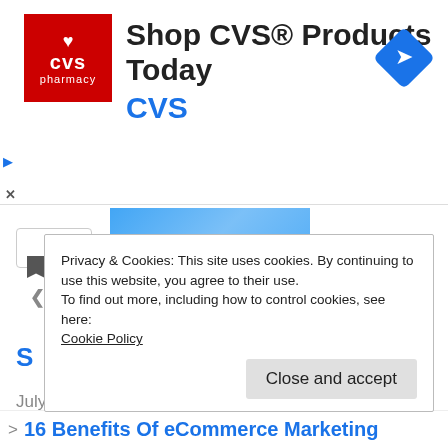[Figure (screenshot): CVS Pharmacy advertisement banner with red logo, 'Shop CVS® Products Today' headline, 'CVS' in blue, and a blue navigation icon on the right]
[Figure (screenshot): Partially visible article header image in blue tones]
ance And Benefits Of Automated Accounts Payable Software In A Business
July 19, 2022
In "Business"
Privacy & Cookies: This site uses cookies. By continuing to use this website, you agree to their use.
To find out more, including how to control cookies, see here:
Cookie Policy
Close and accept
> 16 Benefits Of eCommerce Marketing